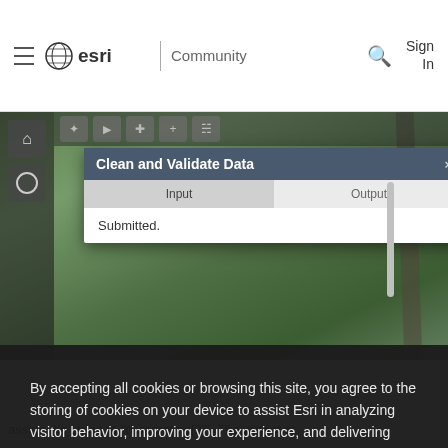≡ esri | Community  🔍  Sign In
[Figure (screenshot): Screenshot of Esri web application showing a satellite map with a 'Clean and Validate Data' dialog box open, with Input and Output tabs, and 'Submitted.' text in the body.]
By accepting all cookies or browsing this site, you agree to the storing of cookies on your device to assist Esri in analyzing visitor behavior, improving your experience, and delivering tailored advertising on and off our sites. Manage cookies here or at the bottom of any page.
Accept All Cookies
Cookies Settings
assign the string to "parameters[2]". The widget at